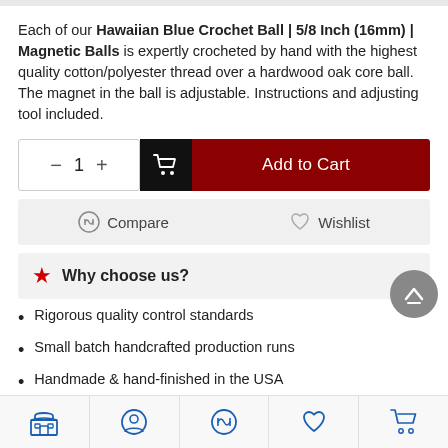Each of our Hawaiian Blue Crochet Ball | 5/8 Inch (16mm) | Magnetic Balls is expertly crocheted by hand with the highest quality cotton/polyester thread over a hardwood oak core ball. The magnet in the ball is adjustable. Instructions and adjusting tool included.
[Figure (screenshot): Add to Cart button with quantity selector showing minus, 1, plus controls and dark red Add to Cart button with cart icon]
[Figure (screenshot): Compare and Wishlist buttons with icons on gray background]
Why choose us?
Rigorous quality control standards
Small batch handcrafted production runs
Handmade & hand-finished in the USA
Live inventory quantity management
In Stock items are REALLY in stock
Store | Account | Compare | Wishlist | Cart